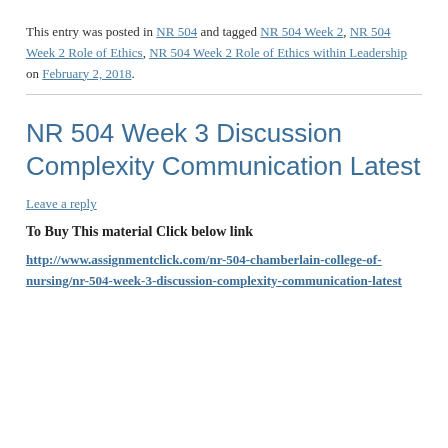This entry was posted in NR 504 and tagged NR 504 Week 2, NR 504 Week 2 Role of Ethics, NR 504 Week 2 Role of Ethics within Leadership on February 2, 2018.
NR 504 Week 3 Discussion Complexity Communication Latest
Leave a reply
To Buy This material Click below link
http://www.assignmentclick.com/nr-504-chamberlain-college-of-nursing/nr-504-week-3-discussion-complexity-communication-latest